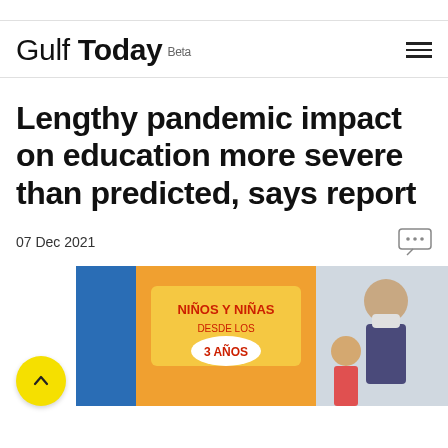Gulf Today Beta
Lengthy pandemic impact on education more severe than predicted, says report
07 Dec 2021
[Figure (photo): Children at a school event with a sign reading 'NIÑOS Y NIÑAS DESDE LOS 3 AÑOS', and a woman wearing a mask looking at a child.]